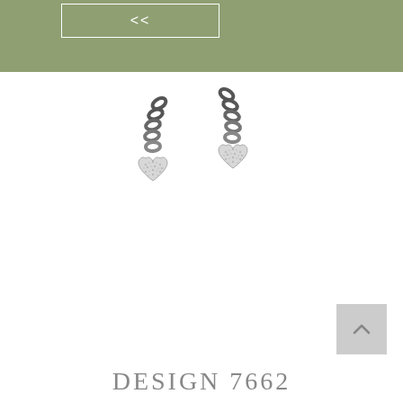[Figure (screenshot): Sage green navigation banner with back navigation '<<' button inside a white-bordered rectangle]
[Figure (photo): Two silver chain-link drop earrings with pave crystal heart-shaped pendants, shown side by side on white background]
[Figure (other): Gray square scroll-to-top button with upward chevron arrow]
DESIGN 7662